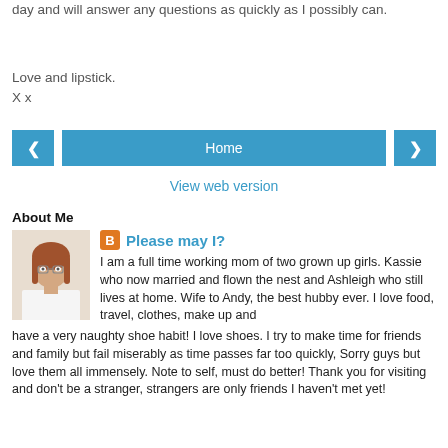day and will answer any questions as quickly as I possibly can.
Love and lipstick.
X x
Home
View web version
About Me
Please may I?
[Figure (photo): Profile photo of a woman with red/auburn hair wearing a white top]
I am a full time working mom of two grown up girls. Kassie who now married and flown the nest and Ashleigh who still lives at home. Wife to Andy, the best hubby ever. I love food, travel, clothes, make up and have a very naughty shoe habit! I love shoes. I try to make time for friends and family but fail miserably as time passes far too quickly, Sorry guys but love them all immensely. Note to self, must do better! Thank you for visiting and don't be a stranger, strangers are only friends I haven't met yet!